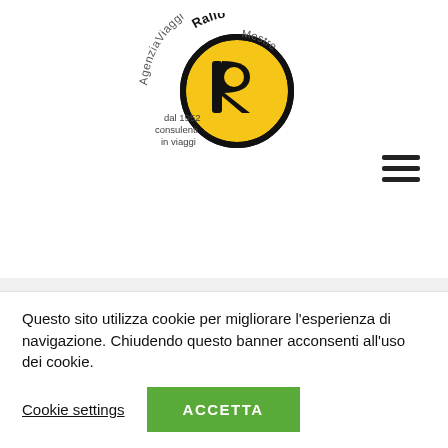[Figure (logo): Agenzia Viaggi Rallo Mestre logo — circular black and yellow badge with stylized R, curved text reading AgenziViaggiRalloMestre, and text 'dal 1952 consulenti in viaggi']
MALTA,l'isola della dea
€ 1500,00
Questo sito utilizza cookie per migliorare l'esperienza di navigazione. Chiudendo questo banner acconsenti all'uso dei cookie.
Cookie settings
ACCETTA